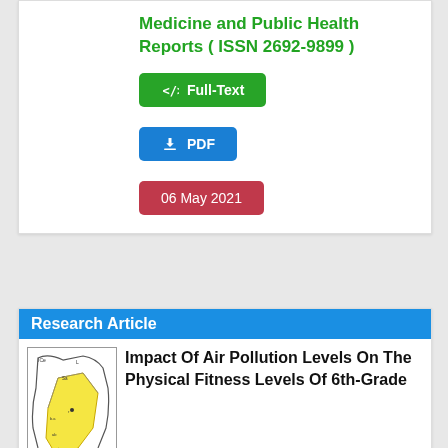Journal of Community Medicine and Public Health Reports ( ISSN 2692-9899 )
Full-Text
PDF
06 May 2021
Research Article
[Figure (map): Geographic map showing a region with yellow highlighted area and boundary lines]
Impact Of Air Pollution Levels On The Physical Fitness Levels Of 6th-Grade